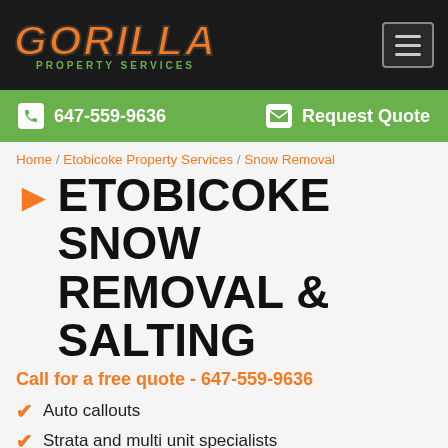GORILLA PROPERTY SERVICES
647-559-9636  Request Quote
Home / Etobicoke Property Services / Snow Removal
ETOBICOKE SNOW REMOVAL & SALTING
Call for a free quote - 647-559-9636
Auto callouts
Strata and multi unit specialists
Salting, sanding ice melts
Before after photos
There is always a fun way to pass the day in the Greater Toronto Area, but spending the day shovelling is not one of them. Instead of spending your time freezing your toes and